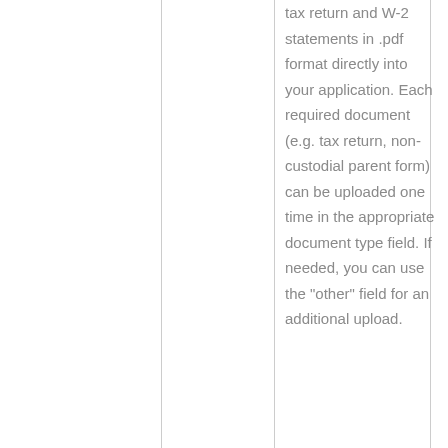tax return and W-2 statements in .pdf format directly into your application. Each required document (e.g. tax return, non-custodial parent form) can be uploaded one time in the appropriate document type field. If needed, you can use the "other" field for an additional upload.